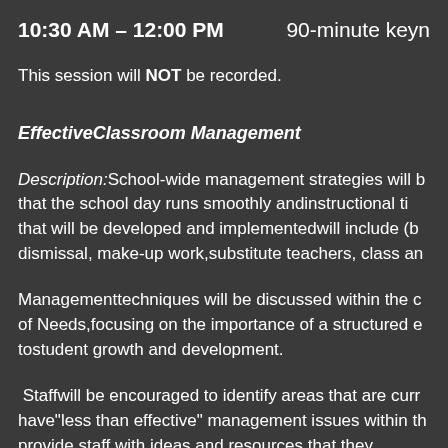10:30 AM – 12:00 PM    90-minute keyn
This session will NOT be recorded.
EffectiveClassroom Management
Description:School-wide management strategies will b that the school day runs smoothly andinstructional ti that will be developed and implementedwill include (b dismissal, make-up work,substitute teachers, class an
Managementtechniques will be discussed within the c of Needs,focusing on the importance of a structured e tostudent growth and development.
Staffwill be encouraged to identify areas that are curr have "less than effective" management issues within th provide staff with ideas and resources that they...